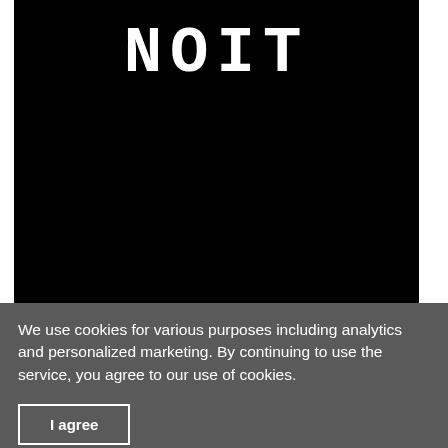[Figure (illustration): Book cover with black background. Large white digital/LCD-style text reading 'NOIT' at the top. Below in white text: 'Principles governing the ideology, methodology and praxeology of informed IT decision making'. 'Copyrighted Material' at the bottom center.]
We use cookies for various purposes including analytics and personalized marketing. By continuing to use the service, you agree to our use of cookies.
I agree